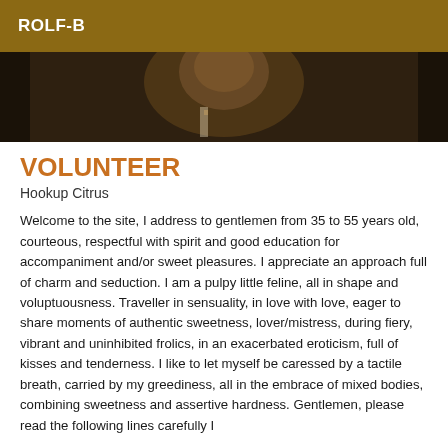ROLF-B
[Figure (photo): Dark close-up photo of a person, partially visible, dark tones]
VOLUNTEER
Hookup Citrus
Welcome to the site, I address to gentlemen from 35 to 55 years old, courteous, respectful with spirit and good education for accompaniment and/or sweet pleasures. I appreciate an approach full of charm and seduction. I am a pulpy little feline, all in shape and voluptuousness. Traveller in sensuality, in love with love, eager to share moments of authentic sweetness, lover/mistress, during fiery, vibrant and uninhibited frolics, in an exacerbated eroticism, full of kisses and tenderness. I like to let myself be caressed by a tactile breath, carried by my greediness, all in the embrace of mixed bodies, combining sweetness and assertive hardness. Gentlemen, please read the following lines carefully I